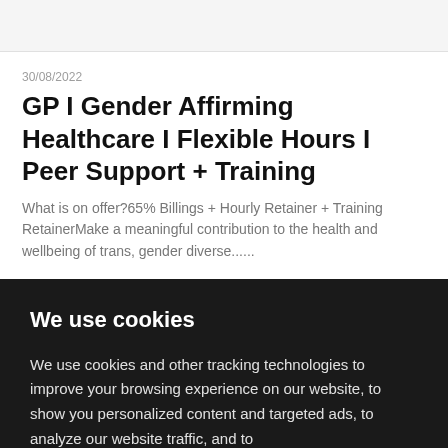30/08/2022
GP I Gender Affirming Healthcare I Flexible Hours I Peer Support + Training
What is on offer?65% Billings + Hourly Retainer + Training RetainerMake a meaningful contribution to the health and wellbeing of trans, gender diverse......
We use cookies
We use cookies and other tracking technologies to improve your browsing experience on our website, to show you personalized content and targeted ads, to analyze our website traffic, and to